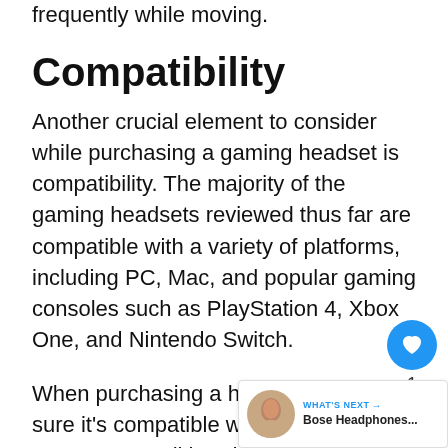frequently while moving.
Compatibility
Another crucial element to consider while purchasing a gaming headset is compatibility. The majority of the gaming headsets reviewed thus far are compatible with a variety of platforms, including PC, Mac, and popular gaming consoles such as PlayStation 4, Xbox One, and Nintendo Switch.
When purchasing a headset, make sure it's compatible with your system. Because not all headphones are compatible with system, be sure to verify the headset's compatibility while shopping. To assist you in